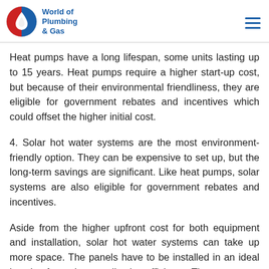World of Plumbing & Gas
Heat pumps have a long lifespan, some units lasting up to 15 years. Heat pumps require a higher start-up cost, but because of their environmental friendliness, they are eligible for government rebates and incentives which could offset the higher initial cost.
4. Solar hot water systems are the most environment-friendly option. They can be expensive to set up, but the long-term savings are significant. Like heat pumps, solar systems are also eligible for government rebates and incentives.
Aside from the higher upfront cost for both equipment and installation, solar hot water systems can take up more space. The panels have to be installed in an ideal location for optimum collection efficiency. The storage